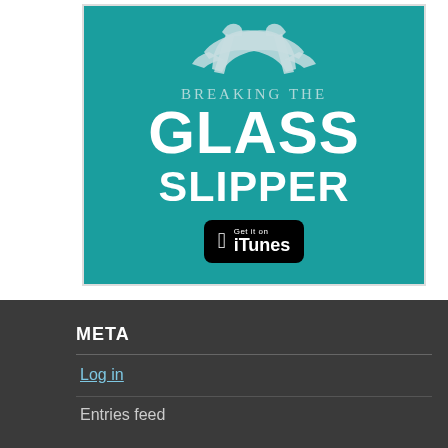[Figure (logo): Breaking the Glass Slipper podcast logo on teal background with two glass high-heel shoes crossing at the top, text 'BREAKING THE GLASS SLIPPER' and an iTunes download button]
META
Log in
Entries feed